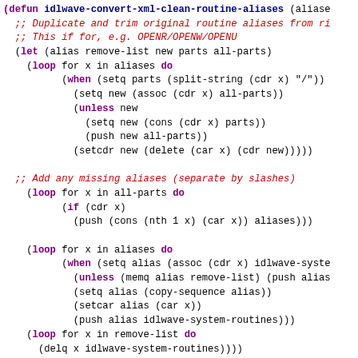[Figure (screenshot): Source code listing in Emacs/Lisp syntax highlighting showing two defun definitions: idlwave-convert-xml-clean-routine-aliases and idlwave-convert-xml-clean-sysvar-aliases, with colored keywords (purple for defun/when/unless/if/do), function names in bold blue, and comments in red italic.]